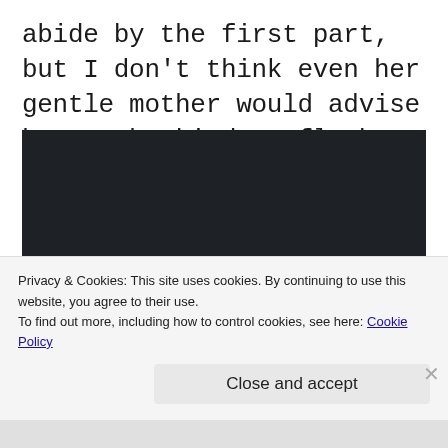abide by the first part, but I don't think even her gentle mother would advise her to be kind to flesh-eating zombies!!
[Figure (screenshot): Dark video player showing 'This video is private' message with an info/warning circle icon]
Privacy & Cookies: This site uses cookies. By continuing to use this website, you agree to their use.
To find out more, including how to control cookies, see here: Cookie Policy
Close and accept